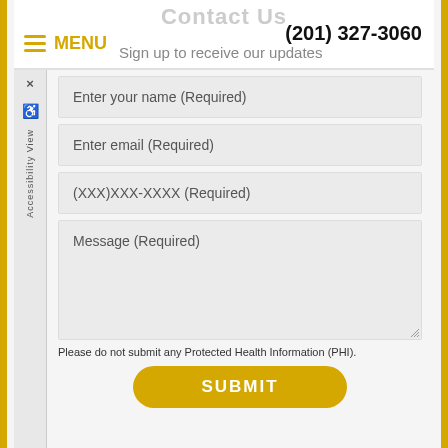Contact Us
MENU  Sign up to receive our updates  (201) 327-3060
Enter your name (Required)
Enter email (Required)
(XXX)XXX-XXXX (Required)
Message (Required)
Please do not submit any Protected Health Information (PHI).
SUBMIT